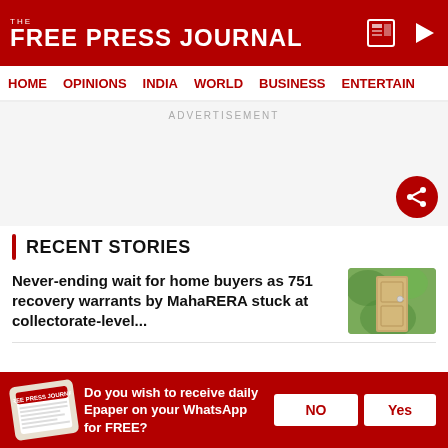THE FREE PRESS JOURNAL
HOME   OPINIONS   INDIA   WORLD   BUSINESS   ENTERTAIN
ADVERTISEMENT
RECENT STORIES
Never-ending wait for home buyers as 751 recovery warrants by MahaRERA stuck at collectorate-level...
[Figure (photo): Photo of a door handle/lock on a wooden door with green foliage background]
Do you wish to receive daily Epaper on your WhatsApp for FREE?